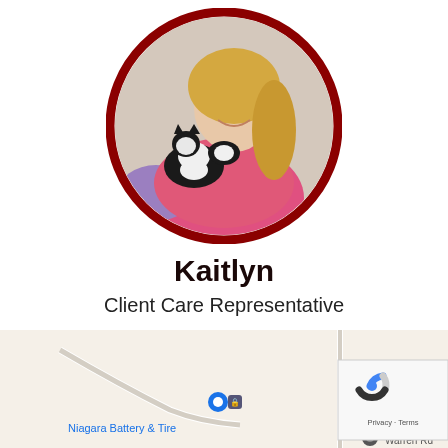[Figure (photo): Circular profile photo of a smiling blonde woman in a pink top holding a black and white cat, framed by a dark red circular border]
Kaitlyn
Client Care Representative
[Figure (map): Google Maps screenshot showing partial map with 'Niagara Battery & Tire' label and location pin, 'Warren Rd' label partially visible, reCAPTCHA Privacy · Terms overlay in bottom right]